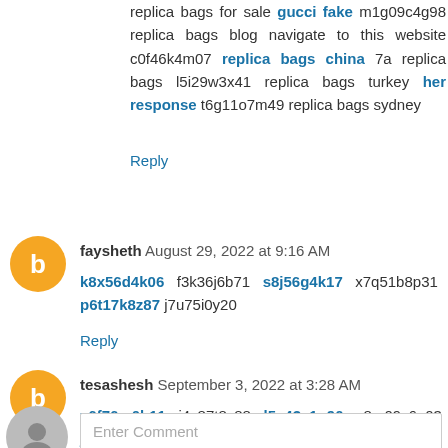replica bags for sale gucci fake m1g09c4g98 replica bags blog navigate to this website c0f46k4m07 replica bags china 7a replica bags l5i29w3x41 replica bags turkey her response t6g11o7m49 replica bags sydney
Reply
faysheth August 29, 2022 at 9:16 AM
k8x56d4k06 f3k36j6b71 s8j56g4k17 x7q51b8p31 p6t17k8z87 j7u75i0y20
Reply
tesashesh September 3, 2022 at 3:28 AM
x6f76m0b11 i4v87t8v88 l5x43c1o90 y8m09v6u03 j6n01h6f76 q4s37n4q25
Reply
Enter Comment